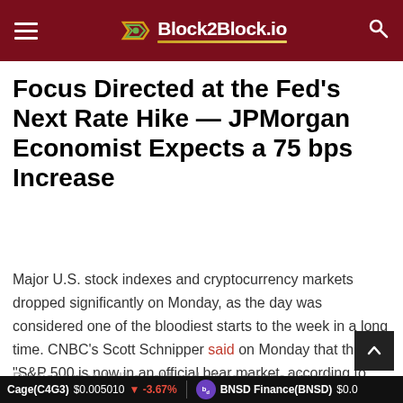Block2Block.io
Focus Directed at the Fed's Next Rate Hike — JPMorgan Economist Expects a 75 bps Increase
Major U.S. stock indexes and cryptocurrency markets dropped significantly on Monday, as the day was considered one of the bloodiest starts to the week in a long time. CNBC's Scott Schnipper said on Monday that the "S&P 500 is now in an official bear market, according to S&P Dow Jones Indices."
Precious metals like gold and silver dropped in value as
Cage(C4G3) $0.005010 ↓ -3.67%    BNSD Finance(BNSD) $0.0